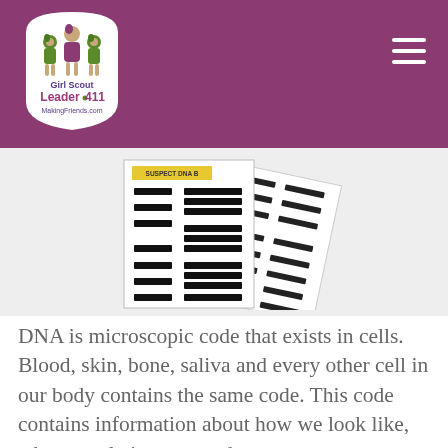[Figure (logo): Girl Scout Leader 411 MakingFriends.com logo in a white arch/circle shape on a purple header bar]
[Figure (photo): DNA fingerprinting / gel electrophoresis cards showing bar code-like DNA band patterns labeled 'SUSPECT DNA B']
DNA is microscopic code that exists in cells. Blood, skin, bone, saliva and every other cell in our body contains the same code. This code contains information about how we look like, who are relatives are and even can our personality and health. No two people have the same DNA unless they are identical twins. Because every DNA is different, it can